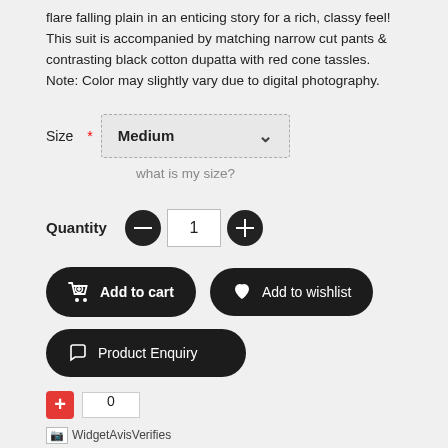flare falling plain in an enticing story for a rich, classy feel! This suit is accompanied by matching narrow cut pants & contrasting black cotton dupatta with red cone tassles. Note: Color may slightly vary due to digital photography.
Size * Medium (dropdown) what is my size?
Quantity  -  1  +
Add to cart
Add to wishlist
Product Enquiry
+ 0
[Figure (other): WidgetAvisVerifies placeholder image]
CUSTOMERS WHO BOUGHT THIS ITEM ALSO BOUGHT
[Figure (photo): Two product thumbnail photos of women in traditional suits]